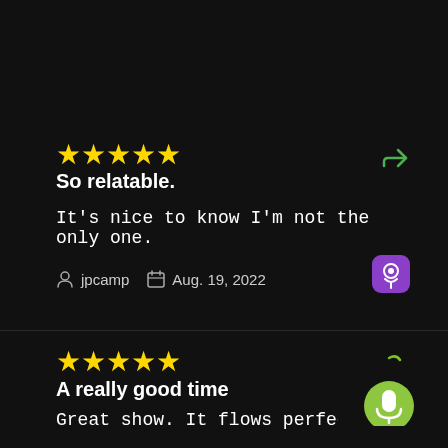[Figure (other): Five yellow star rating icons]
So relatable.
It's nice to know I'm not the only one.
jpcamp   Aug. 19, 2022
[Figure (other): Five yellow star rating icons]
A really good time
Great show. It flows perfectly from the banter